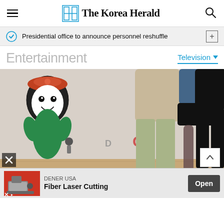The Korea Herald
Presidential office to announce personnel reshuffle
Entertainment
Television
[Figure (photo): Three people standing at an event backdrop featuring an animated character mascot. Left person wears khaki trousers and casual sneakers, center person wears a black mini skirt with sheer tights and black heels, right person wears black trousers and dress shoes.]
DENER USA Fiber Laser Cutting Open